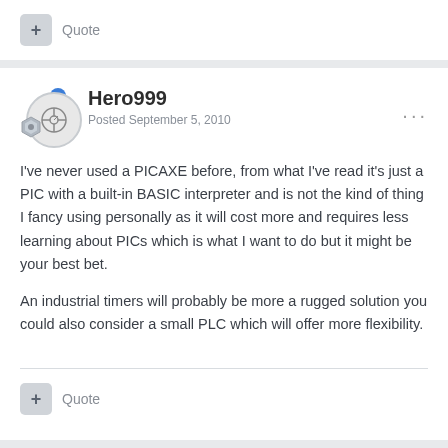+ Quote
Hero999 — Posted September 5, 2010
I've never used a PICAXE before, from what I've read it's just a PIC with a built-in BASIC interpreter and is not the kind of thing I fancy using personally as it will cost more and requires less learning about PICs which is what I want to do but it might be your best bet.

An industrial timers will probably be more a rugged solution you could also consider a small PLC which will offer more flexibility.
+ Quote